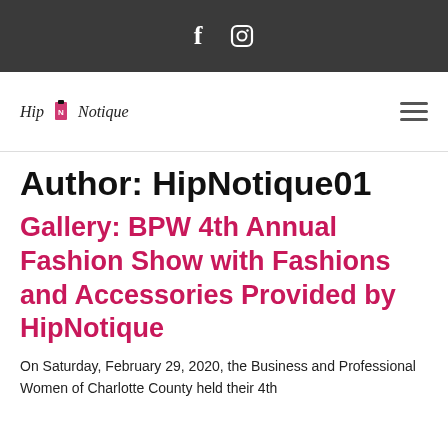f  [instagram icon]
[Figure (logo): HipNotique boutique logo with text and fashion icon, plus hamburger menu icon]
Author: HipNotique01
Gallery: BPW 4th Annual Fashion Show with Fashions and Accessories Provided by HipNotique
On Saturday, February 29, 2020, the Business and Professional Women of Charlotte County held their 4th